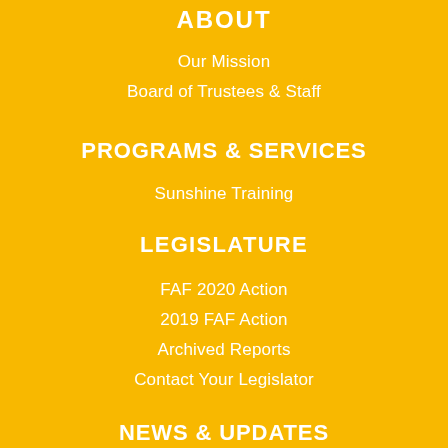ABOUT
Our Mission
Board of Trustees & Staff
PROGRAMS & SERVICES
Sunshine Training
LEGISLATURE
FAF 2020 Action
2019 FAF Action
Archived Reports
Contact Your Legislator
NEWS & UPDATES
Events